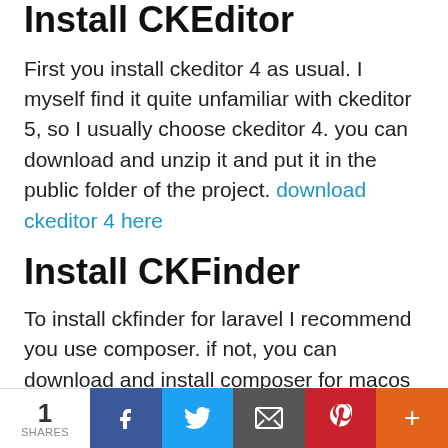Install CKEditor
First you install ckeditor 4 as usual. I myself find it quite unfamiliar with ckeditor 5, so I usually choose ckeditor 4. you can download and unzip it and put it in the public folder of the project. download ckeditor 4 here
Install CKFinder
To install ckfinder for laravel I recommend you use composer. if not, you can download and install composer for macos by following this path: download and install composer for macosx
if you use windows then just download and install
1 SHARES | Facebook | Twitter | Email | Pinterest | More